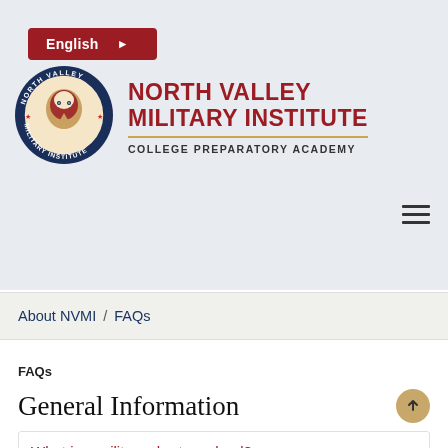English ▶
[Figure (logo): North Valley Military Institute circular seal/logo with eagle emblem]
North Valley Military Institute — College Preparatory Academy
About NVMI / FAQs
FAQs
General Information
What is a military charter school?
What are they like?